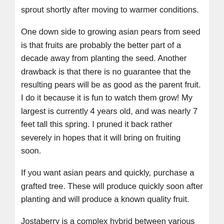sprout shortly after moving to warmer conditions.
One down side to growing asian pears from seed is that fruits are probably the better part of a decade away from planting the seed. Another drawback is that there is no guarantee that the resulting pears will be as good as the parent fruit. I do it because it is fun to watch them grow! My largest is currently 4 years old, and was nearly 7 feet tall this spring. I pruned it back rather severely in hopes that it will bring on fruiting soon.
If you want asian pears and quickly, purchase a grafted tree. These will produce quickly soon after planting and will produce a known quality fruit.
Jostaberry is a complex hybrid between various black currants, one or more domesticated gooseberries, and sometimes some wild gooseberries (notably the R. divaricatum mentioned earlier). In reviewing this, it occurs to me that I’ve turned my nose up to this plant based mostly on descriptions from the California Rare Fruit Grower’s Fruit Facts, as well as a couple of experiences...